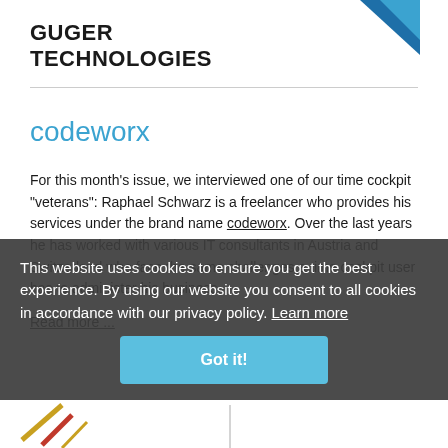[Figure (logo): Guger Technologies logo with blue triangle shape and bold text]
GUGER TECHNOLOGIES
codeworx
For this month's issue, we interviewed one of our time cockpit "veterans": Raphael Schwarz is a freelancer who provides his services under the brand name codeworx. Over the last years he has worked with various IT consultants in Austria and Switzerland who face the same challenges a time cockpit user has to administer his business.
Read more ...
This website uses cookies to ensure you get the best experience. By using our website you consent to all cookies in accordance with our privacy policy. Learn more
[Figure (illustration): Bottom strip with partial icon/logo visible]